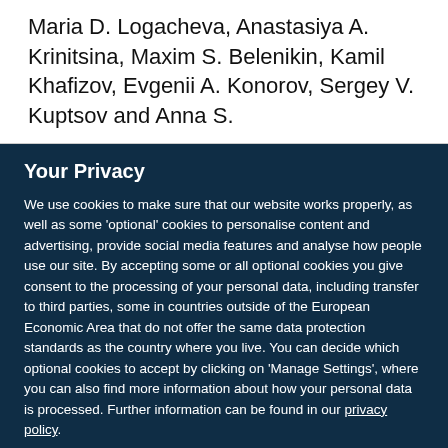Maria D. Logacheva, Anastasiya A. Krinitsina, Maxim S. Belenikin, Kamil Khafizov, Evgenii A. Konorov, Sergey V. Kuptsov and Anna S.
Your Privacy
We use cookies to make sure that our website works properly, as well as some 'optional' cookies to personalise content and advertising, provide social media features and analyse how people use our site. By accepting some or all optional cookies you give consent to the processing of your personal data, including transfer to third parties, some in countries outside of the European Economic Area that do not offer the same data protection standards as the country where you live. You can decide which optional cookies to accept by clicking on 'Manage Settings', where you can also find more information about how your personal data is processed. Further information can be found in our privacy policy.
Accept all cookies
Manage preferences